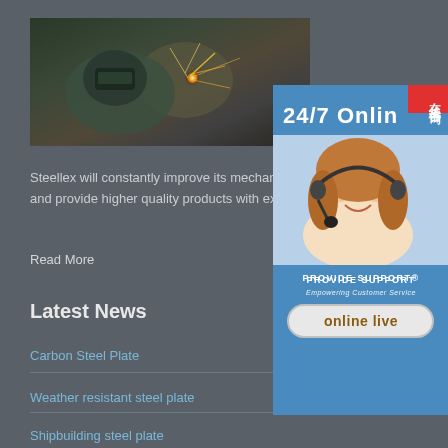[Figure (photo): Welding worker with sparks flying in industrial setting]
[Figure (infographic): 24/7 Online support sidebar with smiling headset operator, PROVIDE SUPPORT logo, and online live button. Chinese characters 在线咨询 on red tab.]
Steellex will constantly improve its mechanical and provide higher quality products with exce...
Read More
Latest News
Carbon Steel Plate
Weather resistant steel plate
Shipbuilding steel plate